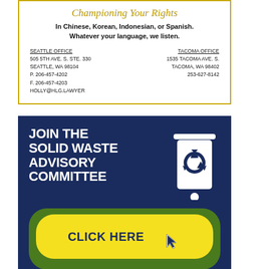Championing Your Rights
In Chinese, Korean, Indonesian, or Spanish. Whatever your language, we listen.
SEATTLE OFFICE
505 5TH AVE. S. STE. 330
SEATTLE, WA 98104
P. 206-457-4202
F. 206-457-4203
HOLLY@HLG.LAWYER
TACOMA OFFICE
1535 TACOMA AVE. S.
TACOMA, WA 98402
253-627-8142
[Figure (infographic): Join the Solid Waste Advisory Committee advertisement with recycling bin icon, CLICK HERE button, and Seattle Public Utilities logo on navy blue background]